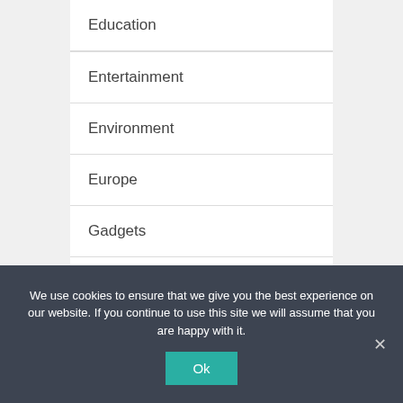Education
Entertainment
Environment
Europe
Gadgets
Genetics
Health
We use cookies to ensure that we give you the best experience on our website. If you continue to use this site we will assume that you are happy with it.
Ok